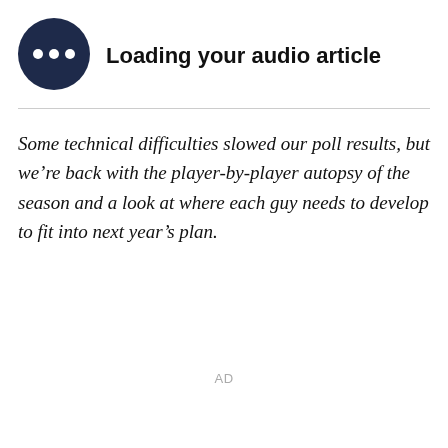[Figure (illustration): Dark navy circle icon with three white horizontal dots (audio loading indicator)]
Loading your audio article
Some technical difficulties slowed our poll results, but we’re back with the player-by-player autopsy of the season and a look at where each guy needs to develop to fit into next year’s plan.
AD